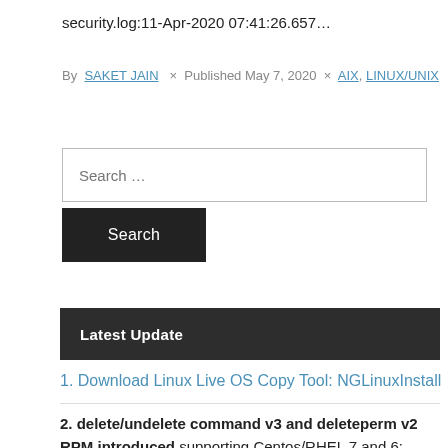security.log:11-Apr-2020 07:41:26.657…
By SAKET JAIN × Published May 7, 2020 × AIX, LINUX/UNIX
Search …
Search
Latest Update
1. Download Linux Live OS Copy Tool: NGLinuxInstall
2. delete/undelete command v3 and deleteperm v2 RPM introduced supporting Centos/RHEL 7 and 6: Both XFS and EXT Filesystem.